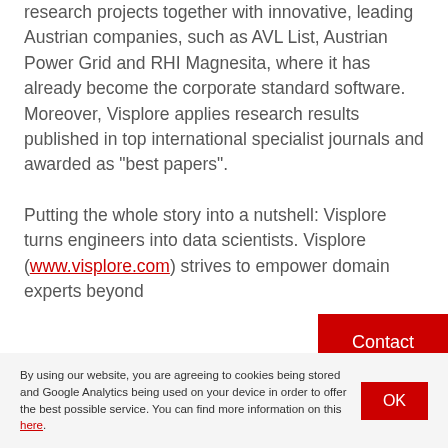research projects together with innovative, leading Austrian companies, such as AVL List, Austrian Power Grid and RHI Magnesita, where it has already become the corporate standard software. Moreover, Visplore applies research results published in top international specialist journals and awarded as "best papers".

Putting the whole story into a nutshell: Visplore turns engineers into data scientists. Visplore (www.visplore.com) strives to empower domain experts beyond
Contact
By using our website, you are agreeing to cookies being stored and Google Analytics being used on your device in order to offer the best possible service. You can find more information on this here.